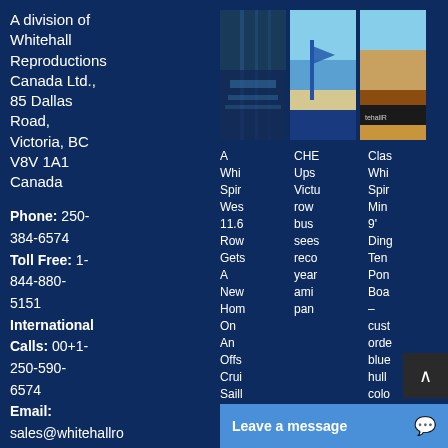A division of Whitehall Reproductions Canada Ltd., 85 Dallas Road, Victoria, BC V8V 1A1 Canada
Phone: 250-384-6574 Toll Free: 1-844-880-5151 International Calls: 00+1-250-590-6574 Email: sales@whitehallro
[Figure (photo): Three vertical photos showing marina/dock, sailboat on water, and wooden boat detail with whitehallR logo]
A Whi Spir Wes 11.6 Row Gets A New Hom On An Offs Crui Saill | CHE Ups Victo row bus sees reco year ami pan | Clas Whi Spir Min 9' Ding Ten Pon Boa – cust orde blue hull colo